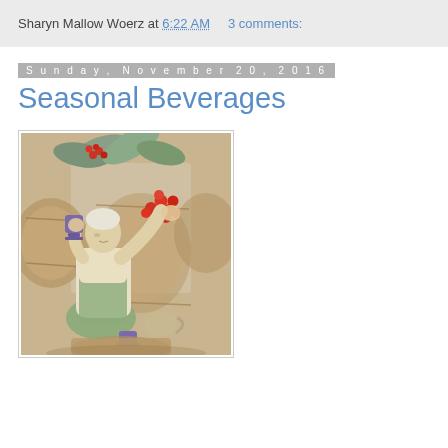Sharyn Mallow Woerz at 6:22 AM    3 comments:
Sunday, November 20, 2016
Seasonal Beverages
[Figure (illustration): Painting of a person holding a bunch of red berries/fruits up to a purple cup, seated among large wicker barrels, with a pitcher and cup on the ground nearby, and large leaves with red berries overhead.]